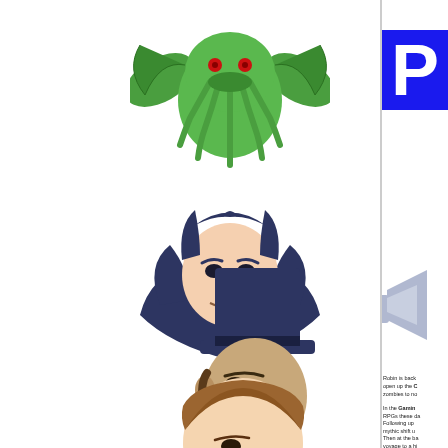[Figure (illustration): Green cartoon Cthulhu monster with tentacles and wings]
[Figure (illustration): Dark blue cartoon vampire face with fangs and cape collar]
[Figure (illustration): Cartoon Abraham Lincoln face with top hat and beard]
[Figure (illustration): Cartoon human male face with brown hair, partially visible]
[Figure (illustration): Large blue letter P on blue background, partially visible on right side]
[Figure (illustration): Cartoon megaphone/horn with a small character, partially visible on right side]
Robin is back open up the C zombies to no
In the Gaming RPGs these da
Following up mythic shift u
Then at the ba voyage to a hi